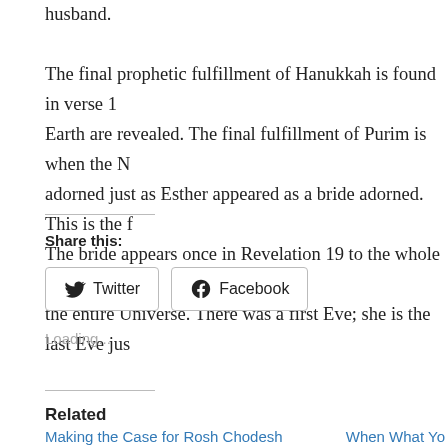husband. The final prophetic fulfillment of Hanukkah is found in verse 1 Earth are revealed. The final fulfillment of Purim is when the N adorned just as Esther appeared as a bride adorned. This is the f The bride appears once in Revelation 19 to the whole world aliv the entire Universe. There was a first Eve; she is the last Eve jus
Share this:
Twitter  Facebook
Loading...
Related
Making the Case for Rosh Chodesh
July 2, 2022
When What Yo
January 25, 201